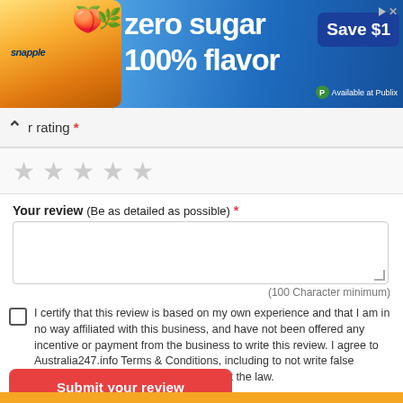[Figure (screenshot): Advertisement banner for Snapple zero sugar 100% flavor with Save $1 offer, available at Publix]
r rating *
[Figure (other): Five empty star rating icons]
Your review (Be as detailed as possible) *
(100 Character minimum)
I certify that this review is based on my own experience and that I am in no way affiliated with this business, and have not been offered any incentive or payment from the business to write this review. I agree to Australia247.info Terms & Conditions, including to not write false reviews, which is in many cases against the law.
Submit your review